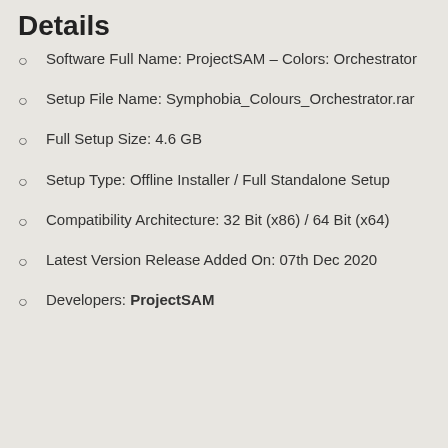Details
Software Full Name: ProjectSAM – Colors: Orchestrator
Setup File Name: Symphobia_Colours_Orchestrator.rar
Full Setup Size: 4.6 GB
Setup Type: Offline Installer / Full Standalone Setup
Compatibility Architecture: 32 Bit (x86) / 64 Bit (x64)
Latest Version Release Added On: 07th Dec 2020
Developers: ProjectSAM